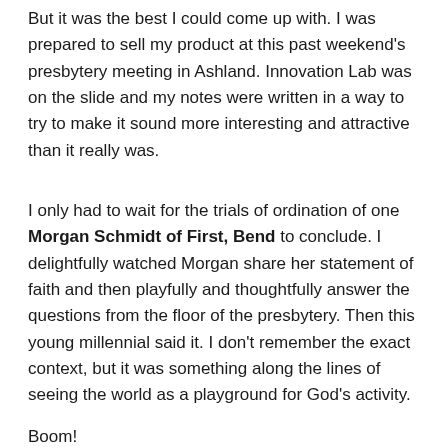But it was the best I could come up with. I was prepared to sell my product at this past weekend's presbytery meeting in Ashland. Innovation Lab was on the slide and my notes were written in a way to try to make it sound more interesting and attractive than it really was.
I only had to wait for the trials of ordination of one Morgan Schmidt of First, Bend to conclude. I delightfully watched Morgan share her statement of faith and then playfully and thoughtfully answer the questions from the floor of the presbytery. Then this young millennial said it. I don't remember the exact context, but it was something along the lines of seeing the world as a playground for God's activity.
Boom!